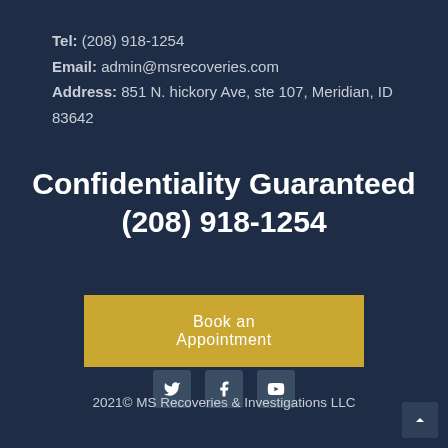Tel: (208) 918-1254
Email: admin@msrecoveries.com
Address: 851 N. hickory Ave, ste 107, Meridian, ID 83642
Confidentiality Guaranteed
(208) 918-1254
Book an Appointment
[Figure (other): Social media icons: Twitter, Facebook, YouTube]
2021© MS Recoveries & Investigations LLC